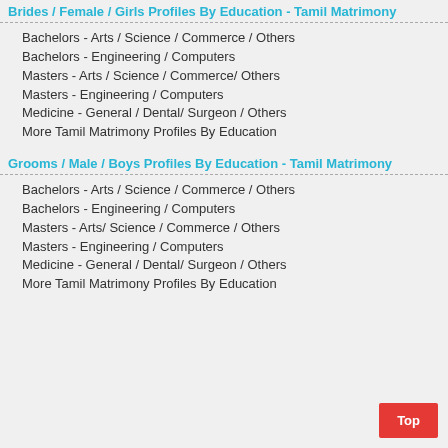Brides / Female / Girls Profiles By Education - Tamil Matrimony
Bachelors - Arts / Science / Commerce / Others
Bachelors - Engineering / Computers
Masters - Arts / Science / Commerce/ Others
Masters - Engineering / Computers
Medicine - General / Dental/ Surgeon / Others
More Tamil Matrimony Profiles By Education
Grooms / Male / Boys Profiles By Education - Tamil Matrimony
Bachelors - Arts / Science / Commerce / Others
Bachelors - Engineering / Computers
Masters - Arts/ Science / Commerce / Others
Masters - Engineering / Computers
Medicine - General / Dental/ Surgeon / Others
More Tamil Matrimony Profiles By Education